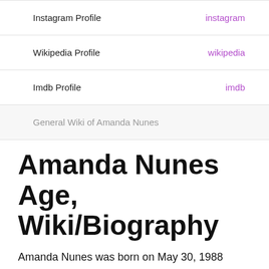| Profile Type | Link |
| --- | --- |
| Instagram Profile | instagram |
| Wikipedia Profile | wikipedia |
| Imdb Profile | imdb |
| General Wiki of Amanda Nunes |  |
Amanda Nunes Age, Wiki/Biography
Amanda Nunes was born on May 30, 1988 inside Salvador, Bahia, Brazil to (dad) and (mom) along no one. As of 2022, the age of Amanda is 34 years .